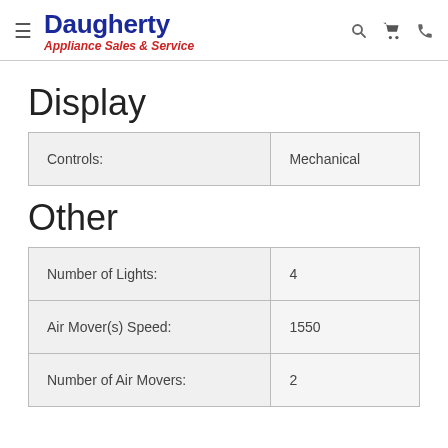Daugherty Appliance Sales & Service
Display
| Controls: |  |
| --- | --- |
| Controls: | Mechanical |
Other
|  |  |
| --- | --- |
| Number of Lights: | 4 |
| Air Mover(s) Speed: | 1550 |
| Number of Air Movers: | 2 |